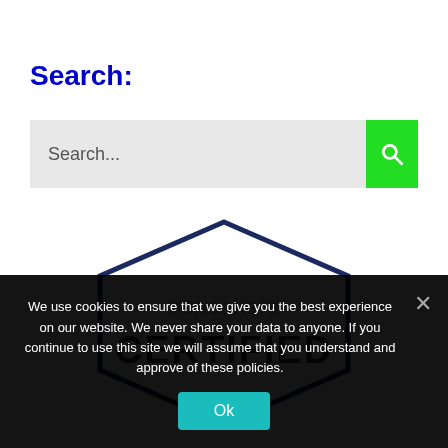Search:
[Figure (screenshot): Search bar with gray background input field showing placeholder text 'Search...' and a green search button with magnifying glass icon on the right.]
[Figure (logo): eSpeakers CERTIFIED badge — a dark navy hexagonal/octagonal outline badge with 'espeakers' in gray text and 'CERTIFIED' in large dark bold text below it.]
We use cookies to ensure that we give you the best experience on our website. We never share your data to anyone. If you continue to use this site we will assume that you understand and approve of these policies.
Ok